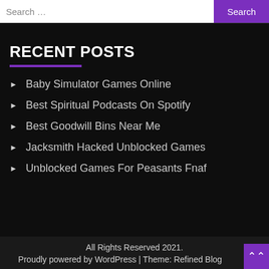Search …  Search
RECENT POSTS
Baby Simulator Games Online
Best Spiritual Podcasts On Spotify
Best Goodwill Bins Near Me
Jacksmith Hacked Unblocked Games
Unblocked Games For Peasants Fnaf
All Rights Reserved 2021.
Proudly powered by WordPress | Theme: Refined Blog